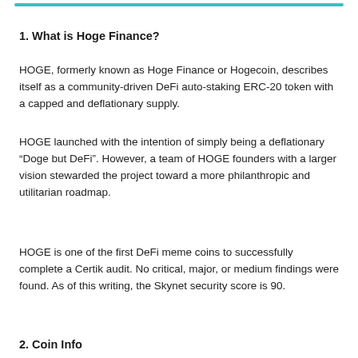1. What is Hoge Finance?
HOGE, formerly known as Hoge Finance or Hogecoin, describes itself as a community-driven DeFi auto-staking ERC-20 token with a capped and deflationary supply.
HOGE launched with the intention of simply being a deflationary “Doge but DeFi”. However, a team of HOGE founders with a larger vision stewarded the project toward a more philanthropic and utilitarian roadmap.
HOGE is one of the first DeFi meme coins to successfully complete a Certik audit. No critical, major, or medium findings were found. As of this writing, the Skynet security score is 90.
2. Coin Info